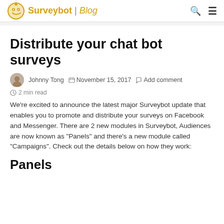Surveybot | Blog
Distribute your chat bot surveys
Johnny Tong  November 15, 2017  Add comment  2 min read
We're excited to announce the latest major Surveybot update that enables you to promote and distribute your surveys on Facebook and Messenger. There are 2 new modules in Surveybot, Audiences are now known as "Panels" and there's a new module called "Campaigns". Check out the details below on how they work:
Panels